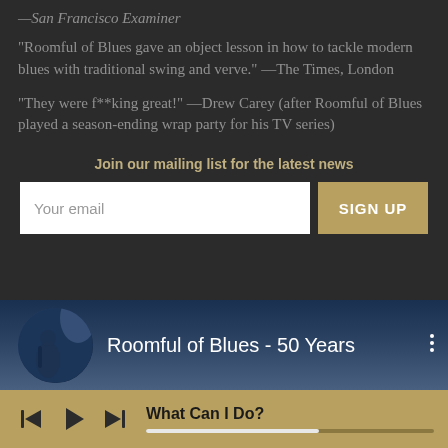—San Francisco Examiner
"Roomful of Blues gave an object lesson in how to tackle modern blues with traditional swing and verve." —The Times, London
"They were f**king great!" —Drew Carey (after Roomful of Blues played a season-ending wrap party for his TV series)
Join our mailing list for the latest news
[Figure (screenshot): Email signup form with text input labeled 'Your email' and a gold 'SIGN UP' button]
[Figure (screenshot): Music player showing 'Roomful of Blues - 50 Years' album with circular thumbnail and controls bar showing 'What Can I Do?' with skip back, play, skip forward buttons and progress bar]